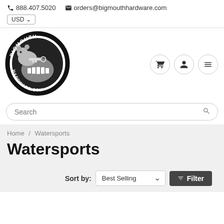📞 888.407.5020  ✉ orders@bigmouthhardware.com  USD
[Figure (logo): Bigmouth Hardware.com circular logo with cartoon mouse/fish character holding a key]
Search
Home / Watersports
Watersports
Sort by: Best Selling ▾  🔽 Filter